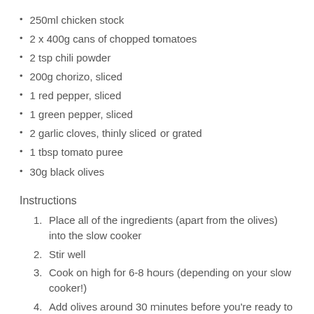250ml chicken stock
2 x 400g cans of chopped tomatoes
2 tsp chili powder
200g chorizo, sliced
1 red pepper, sliced
1 green pepper, sliced
2 garlic cloves, thinly sliced or grated
1 tbsp tomato puree
30g black olives
Instructions
Place all of the ingredients (apart from the olives) into the slow cooker
Stir well
Cook on high for 6-8 hours (depending on your slow cooker!)
Add olives around 30 minutes before you're ready to serve